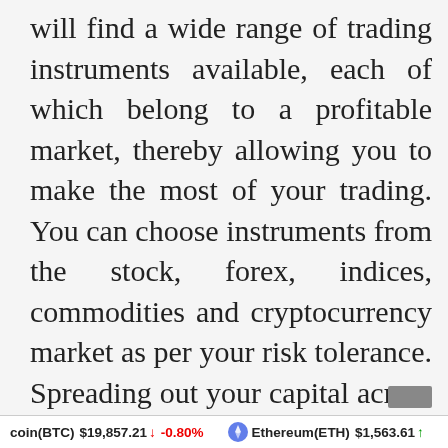will find a wide range of trading instruments available, each of which belong to a profitable market, thereby allowing you to make the most of your trading. You can choose instruments from the stock, forex, indices, commodities and cryptocurrency market as per your risk tolerance. Spreading out your capital across different markets can help in minimizing the risks and boosting profits.
coin(BTC) $19,857.21 ↓ -0.80%   Ethereum(ETH) $1,563.61 ↑